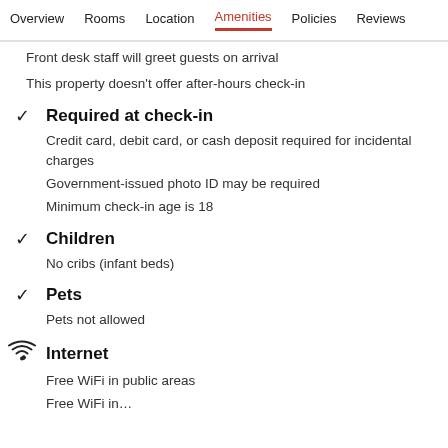Overview  Rooms  Location  Amenities  Policies  Reviews
Front desk staff will greet guests on arrival
This property doesn't offer after-hours check-in
Required at check-in
Credit card, debit card, or cash deposit required for incidental charges
Government-issued photo ID may be required
Minimum check-in age is 18
Children
No cribs (infant beds)
Pets
Pets not allowed
Internet
Free WiFi in public areas
Free WiFi in…